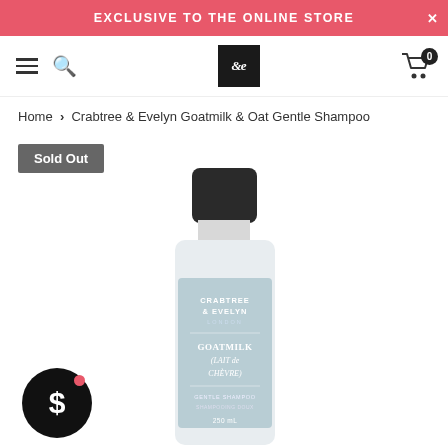EXCLUSIVE TO THE ONLINE STORE
Home > Crabtree & Evelyn Goatmilk & Oat Gentle Shampoo
Sold Out
[Figure (photo): Crabtree & Evelyn Goatmilk (Lait de Chèvre) Gentle Shampoo bottle — white bottle with light blue label and black cap]